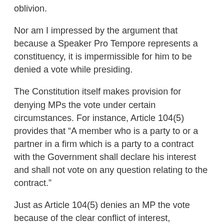oblivion.
Nor am I impressed by the argument that because a Speaker Pro Tempore represents a constituency, it is impermissible for him to be denied a vote while presiding.
The Constitution itself makes provision for denying MPs the vote under certain circumstances. For instance, Article 104(5) provides that “A member who is a party to or a partner in a firm which is a party to a contract with the Government shall declare his interest and shall not vote on any question relating to the contract.”
Just as Article 104(5) denies an MP the vote because of the clear conflict of interest, Parliament can reasonably demand that a Speaker Pro Tempore not be allowed to vote, debate or act as a biased umpire.
To reason otherwise, is to invite the MPs to treat a Speaker